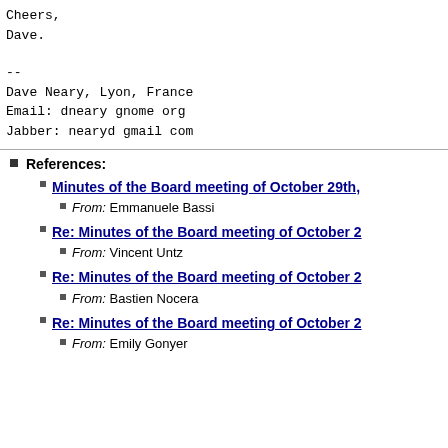Cheers,
Dave.
--
Dave Neary, Lyon, France
Email: dneary gnome org
Jabber: nearyd gmail com
References:
Minutes of the Board meeting of October 29th,
From: Emmanuele Bassi
Re: Minutes of the Board meeting of October 2
From: Vincent Untz
Re: Minutes of the Board meeting of October 2
From: Bastien Nocera
Re: Minutes of the Board meeting of October 2
From: Emily Gonyer